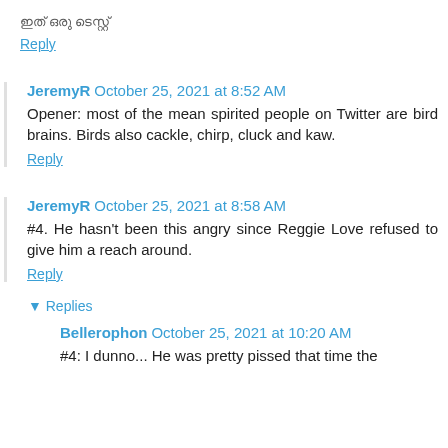ഇത് ഒരു ടെസ്റ്റ്
Reply
JeremyR October 25, 2021 at 8:52 AM
Opener: most of the mean spirited people on Twitter are bird brains. Birds also cackle, chirp, cluck and kaw.
Reply
JeremyR October 25, 2021 at 8:58 AM
#4. He hasn't been this angry since Reggie Love refused to give him a reach around.
Reply
▼ Replies
Bellerophon October 25, 2021 at 10:20 AM
#4: I dunno... He was pretty pissed that time the